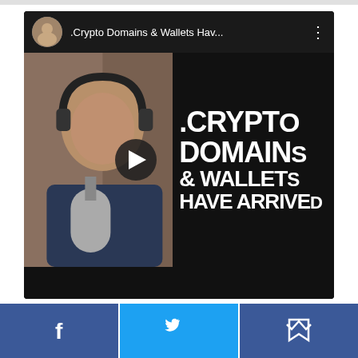[Figure (screenshot): YouTube video thumbnail/player showing a man with headphones in front of a microphone on the left side, and bold white text '.CRYPTO DOMAINS & WALLETS HAVE ARRIVED' on the right side against a dark background. Video title bar reads '.Crypto Domains & Wallets Hav...' with a channel avatar and three-dot menu icon.]
[Figure (infographic): Three social share buttons at the bottom: Facebook (dark blue with 'f' icon), Twitter (light blue with bird icon), and another dark blue button with crown/bookmark icon.]